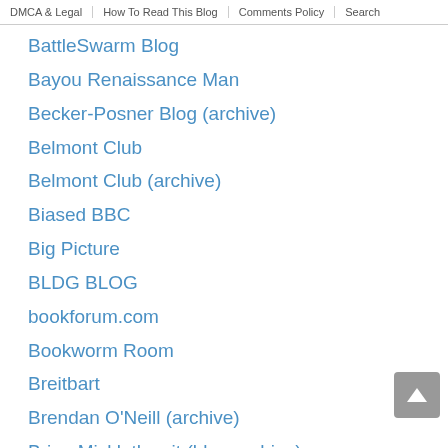DMCA & Legal | How To Read This Blog | Comments Policy | Search
BattleSwarm Blog
Bayou Renaissance Man
Becker-Posner Blog (archive)
Belmont Club
Belmont Club (archive)
Biased BBC
Big Picture
BLDG BLOG
bookforum.com
Bookworm Room
Breitbart
Brendan O'Neill (archive)
Brian Micklethwait (blog archive)